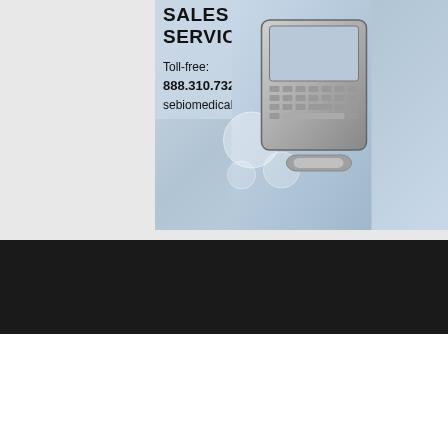[Figure (illustration): Advertisement for Sebio Medical sales and service showing a medical device/keyboard. Text reads: SALES AND SERVICE, Toll-free: 888.310.7322, sebiomedical.com]
[Figure (screenshot): Dark website search bar area with text SEARCH ...]
This website stores cookies on your computer. These cookies are used to improve your website and provide more personalized services to you, both on this website and through other media. To find out more about the cookies we use, see our Privacy Policy.